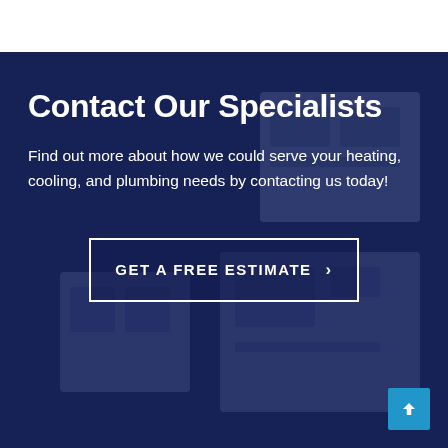Contact Our Specialists
Find out more about how we could serve your heating, cooling, and plumbing needs by contacting us today!
[Figure (other): Call-to-action button reading GET A FREE ESTIMATE with a right chevron, white border on dark navy background]